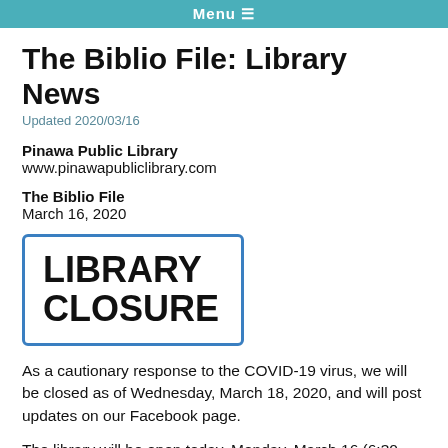Menu
The Biblio File: Library News
Updated 2020/03/16
Pinawa Public Library
www.pinawapubliclibrary.com
The Biblio File
March 16, 2020
[Figure (other): Library Closure sign — bold black text reading LIBRARY CLOSURE inside a blue-bordered rounded rectangle]
As a cautionary response to the COVID-19 virus, we will be closed as of Wednesday, March 18, 2020, and will post updates on our Facebook page.
The library will be open today, Monday, March 16 (6:30 p.m. to 9:00 p.m.) and Tuesday, March 17 (9:00 a.m to 4:00 p.m